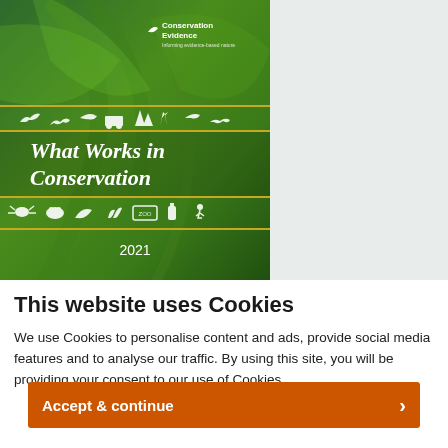[Figure (illustration): Book cover of 'What Works in Conservation 2021' by Conservation Evidence, showing a green leaf background with wildlife icons/silhouettes in gold/yellow horizontal bands, white title text, and small Conservation Evidence logo at top.]
This website uses Cookies
We use Cookies to personalise content and ads, provide social media features and to analyse our traffic. By using this site, you will be providing your consent to our use of Cookies.
Accept & continue